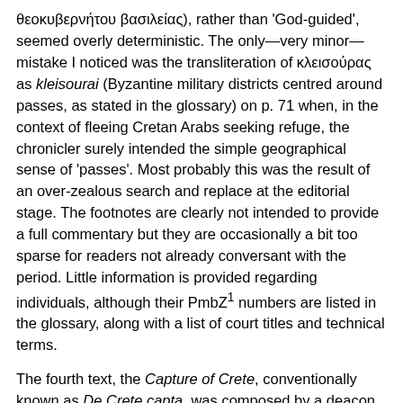θεοκυβερνήτου βασιλείας), rather than 'God-guided', seemed overly deterministic. The only—very minor—mistake I noticed was the transliteration of κλεισούρας as kleisourai (Byzantine military districts centred around passes, as stated in the glossary) on p. 71 when, in the context of fleeing Cretan Arabs seeking refuge, the chronicler surely intended the simple geographical sense of 'passes'. Most probably this was the result of an over-zealous search and replace at the editorial stage. The footnotes are clearly not intended to provide a full commentary but they are occasionally a bit too sparse for readers not already conversant with the period. Little information is provided regarding individuals, although their PmbZ¹ numbers are listed in the glossary, along with a list of court titles and technical terms.
The fourth text, the Capture of Crete, conventionally known as De Crete capta, was composed by a deacon named Theodosios. He was probably attached to the court in Constantinople and wrote with the apparent intent of flattering Romanos II. Although Sullivan doggedly attempts to draw out what the text can tell us about the military operations on Crete, it was obviously not intended to report